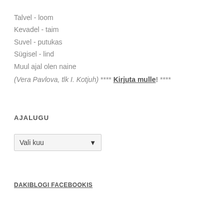Talvel - loom
Kevadel - taim
Suvel - putukas
Sügisel - lind
Muul ajal olen naine
(Vera Pavlova, tlk I. Kotjuh) **** Kirjuta mulle! ****
AJALUGU
Vali kuu
DAKIBLOGI FACEBOOKIS